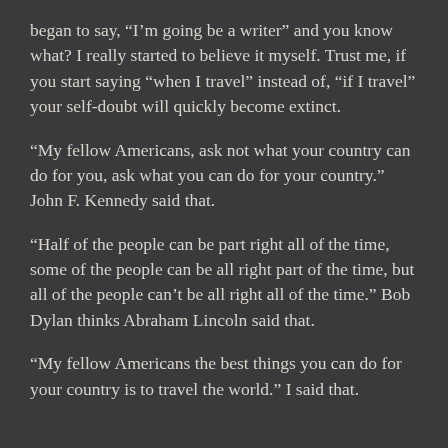began to say, “I’m going be a writer” and you know what? I really started to believe it myself. Trust me, if you start saying “when I travel” instead of, “if I travel” your self-doubt will quickly become extinct.
“My fellow Americans, ask not what your country can do for you, ask what you can do for your country.” John F. Kennedy said that.
“Half of the people can be part right all of the time, some of the people can be all right part of the time, but all of the people can’t be all right all of the time.” Bob Dylan thinks Abraham Lincoln said that.
“My fellow Americans the best things you can do for your country is to travel the world.” I said that.